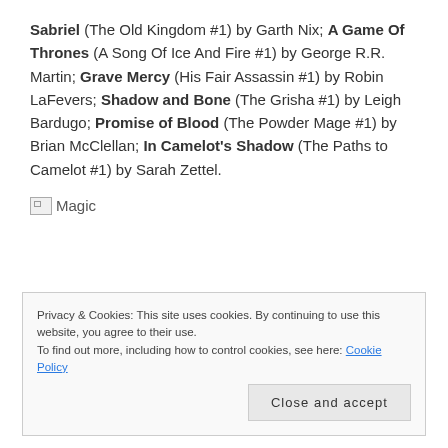Sabriel (The Old Kingdom #1) by Garth Nix; A Game Of Thrones (A Song Of Ice And Fire #1) by George R.R. Martin; Grave Mercy (His Fair Assassin #1) by Robin LaFevers; Shadow and Bone (The Grisha #1) by Leigh Bardugo; Promise of Blood (The Powder Mage #1) by Brian McClellan; In Camelot's Shadow (The Paths to Camelot #1) by Sarah Zettel.
[Figure (other): Broken image placeholder labeled 'Magic']
Privacy & Cookies: This site uses cookies. By continuing to use this website, you agree to their use. To find out more, including how to control cookies, see here: Cookie Policy
Close and accept